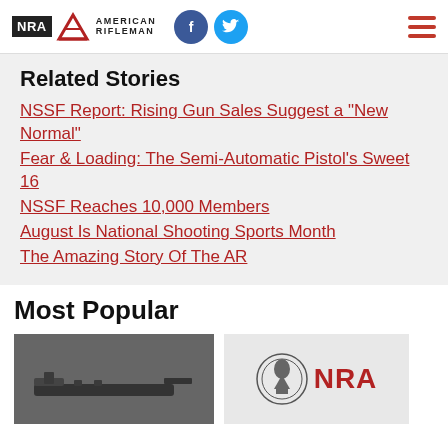NRA American Rifleman
Related Stories
NSSF Report: Rising Gun Sales Suggest a "New Normal"
Fear & Loading: The Semi-Automatic Pistol's Sweet 16
NSSF Reaches 10,000 Members
August Is National Shooting Sports Month
The Amazing Story Of The AR
Most Popular
[Figure (photo): Thumbnail image of a firearm (rifle/machine gun silhouette on dark background)]
[Figure (logo): NRA logo with eagle seal and NRA text in bold red]